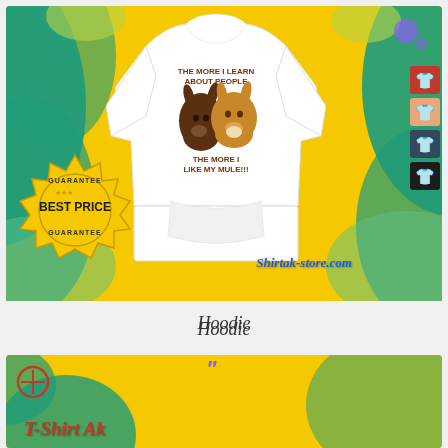[Figure (photo): Product listing image showing a white hoodie with 'The more I learn about people, the more I like my mule!!!' graphic featuring two mules, displayed against a yellow tropical background with teal leaf accents. Includes a 'Best Price Guarantee' badge, color variant icons on the right side, and a Shirtak-store.com watermark.]
Hoodie
[Figure (photo): Partial view of a second product card with yellow tropical background and red 'T-Shirt Ak' text visible at the bottom of the page.]